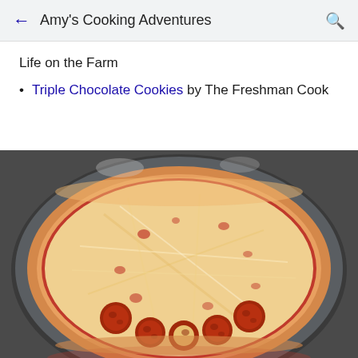Amy's Cooking Adventures
Life on the Farm
Triple Chocolate Cookies by The Freshman Cook
[Figure (photo): Overhead view of a pepperoni pizza on a dark round pizza pan. The pizza has a golden-brown crust, red tomato sauce, shredded mozzarella cheese, and pepperoni slices arranged in a circle near the bottom half.]